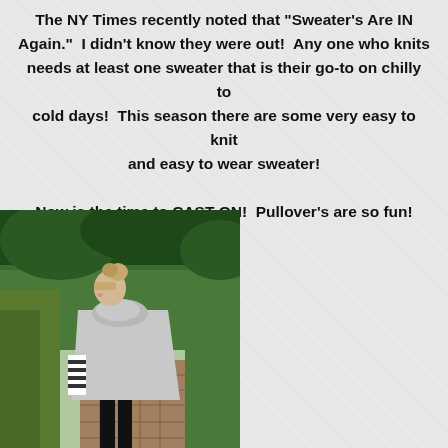The NY Times recently noted that "Sweater's Are IN Again."  I didn't know they were out!  Any one who knits needs at least one sweater that is their go-to on chilly to cold days!  This season there are some very easy to knit and easy to wear sweater!

Now is the time to CAST ON!  Pullover's are so fun!
[Figure (photo): A woman wearing a grey pullover poncho sweater and striped long-sleeve shirt underneath, standing on a wooden boardwalk path surrounded by green trees and tall grass, viewed from behind/side.]